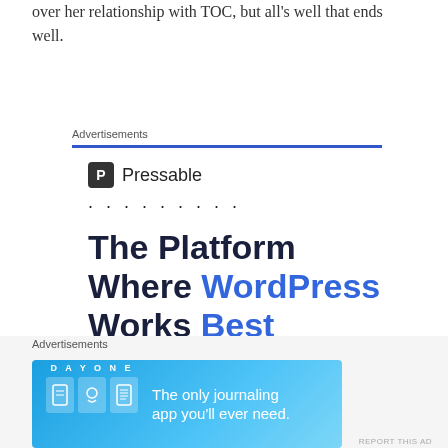over her relationship with TOC, but all's well that ends well.
Advertisements
[Figure (illustration): Pressable advertisement: logo with P icon and 'Pressable' text, dots, headline 'The Platform Where WordPress Works Best', blue 'SEE PRICING' button, 'REPORT THIS AD' link]
Advertisements
[Figure (illustration): Day One app advertisement: 'The only journaling app you'll ever need.' on blue gradient background with app icons]